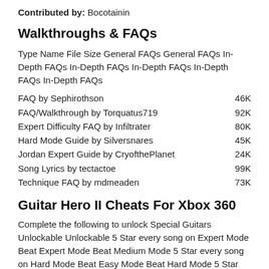Contributed by: Bocotainin
Walkthroughs & FAQs
Type Name File Size General FAQs General FAQs In-Depth FAQs In-Depth FAQs In-Depth FAQs In-Depth FAQs In-Depth FAQs
FAQ by Sephirothson    46K
FAQ/Walkthrough by Torquatus719    92K
Expert Difficulty FAQ by Infiltrater    80K
Hard Mode Guide by Silversnares    45K
Jordan Expert Guide by CryofthePlanet 24K
Song Lyrics by tectactoe    99K
Technique FAQ by mdmeaden    73K
Guitar Hero II Cheats For Xbox 360
Complete the following to unlock Special Guitars Unlockable Unlockable 5 Star every song on Expert Mode Beat Expert Mode Beat Medium Mode 5 Star every song on Hard Mode Beat Easy Mode Beat Hard Mode 5 Star every song on Easy Mode 5 Star